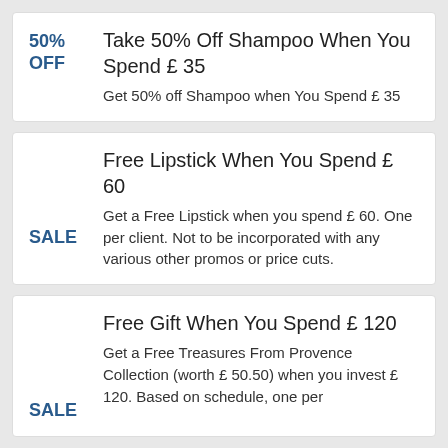Take 50% Off Shampoo When You Spend £ 35
Get 50% off Shampoo when You Spend £ 35
Free Lipstick When You Spend £ 60
Get a Free Lipstick when you spend £ 60. One per client. Not to be incorporated with any various other promos or price cuts.
Free Gift When You Spend £ 120
Get a Free Treasures From Provence Collection (worth £ 50.50) when you invest £ 120. Based on schedule, one per